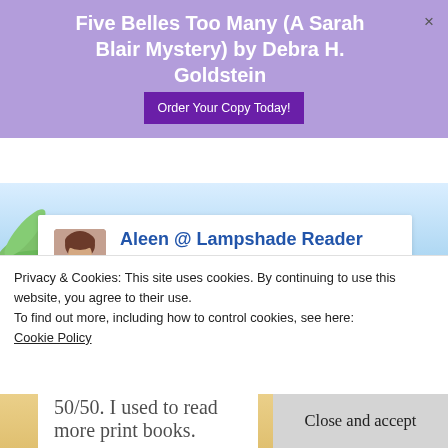Five Belles Too Many (A Sarah Blair Mystery) by Debra H. Goldstein
Order Your Copy Today!
Aleen @ Lampshade Reader says:
February 18, 2018 at 8:37 PM
I was also one of the ones that did not
Privacy & Cookies: This site uses cookies. By continuing to use this website, you agree to their use.
To find out more, including how to control cookies, see here: Cookie Policy
Close and accept
50/50. I used to read more print books.